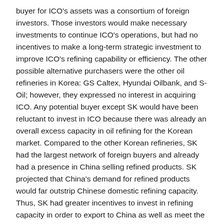buyer for ICO's assets was a consortium of foreign investors. Those investors would make necessary investments to continue ICO's operations, but had no incentives to make a long-term strategic investment to improve ICO's refining capability or efficiency. The other possible alternative purchasers were the other oil refineries in Korea: GS Caltex, Hyundai Oilbank, and S-Oil; however, they expressed no interest in acquiring ICO. Any potential buyer except SK would have been reluctant to invest in ICO because there was already an overall excess capacity in oil refining for the Korean market. Compared to the other Korean refineries, SK had the largest network of foreign buyers and already had a presence in China selling refined products. SK projected that China's demand for refined products would far outstrip Chinese domestic refining capacity. Thus, SK had greater incentives to invest in refining capacity in order to export to China as well as meet the domestic demand in Korea. Furthermore, in comparison with other potential buyers, SK's extensive experience acquired in the process of improving and updating its own refineries would be readily transferable to improve ICO's refineries.
Suppose SK was unable to acquire ICO. It is then unlikely that SK